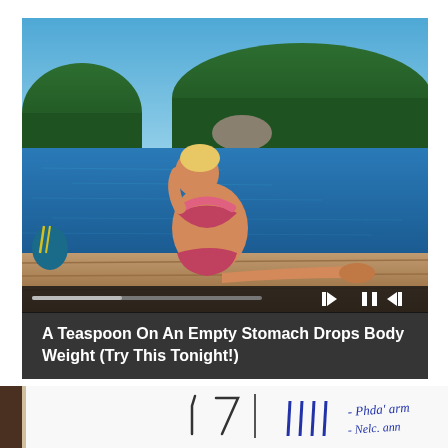[Figure (photo): A video player showing a woman in a bikini sitting on a wooden dock by a calm lake surrounded by trees. The video player has playback controls at the bottom including skip-back, pause, and skip-forward buttons with a progress bar.]
A Teaspoon On An Empty Stomach Drops Body Weight (Try This Tonight!)
[Figure (photo): A close-up photo of handwritten notes with blue ink on white paper, partially cropped. Text appears to read something with numbers '7' and other handwritten marks.]